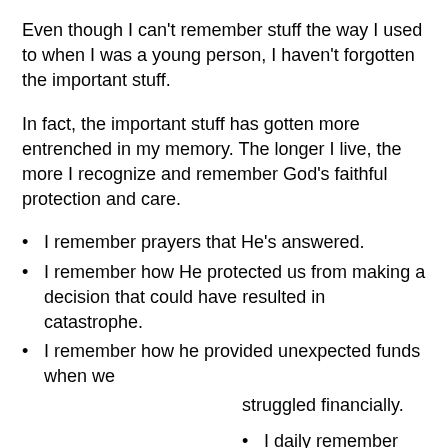Even though I can't remember stuff the way I used to when I was a young person, I haven't forgotten the important stuff.
In fact, the important stuff has gotten more entrenched in my memory. The longer I live, the more I recognize and remember God's faithful protection and care.
I remember prayers that He's answered.
I remember how He protected us from making a decision that could have resulted in catastrophe.
I remember how he provided unexpected funds when we struggled financially.
I daily remember the multiple blessings He gives me in a